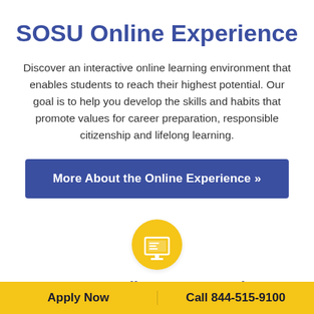SOSU Online Experience
Discover an interactive online learning environment that enables students to reach their highest potential. Our goal is to help you develop the skills and habits that promote values for career preparation, responsible citizenship and lifelong learning.
More About the Online Experience »
[Figure (illustration): Yellow circle icon containing a white desktop computer/monitor illustration]
100% Online Coursework
Courses available 24/7 and students can...
Apply Now | Call 844-515-9100